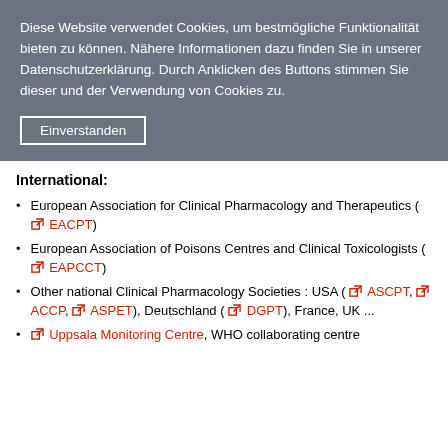Diese Website verwendet Cookies, um bestmögliche Funktionalität bieten zu können. Nähere Informationen dazu finden Sie in unserer Datenschutzerklärung. Durch Anklicken des Buttons stimmen Sie dieser und der Verwendung von Cookies zu.
Einverstanden
International:
European Association for Clinical Pharmacology and Therapeutics ( EACPT)
European Association of Poisons Centres and Clinical Toxicologists ( EAPCCT)
Other national Clinical Pharmacology Societies : USA ( ASCPT, ACCP, ASPET), Deutschland ( DGPT), France, UK ...
Uppsala Monitoring Centre, WHO collaborating centre for international pharmacovigilance